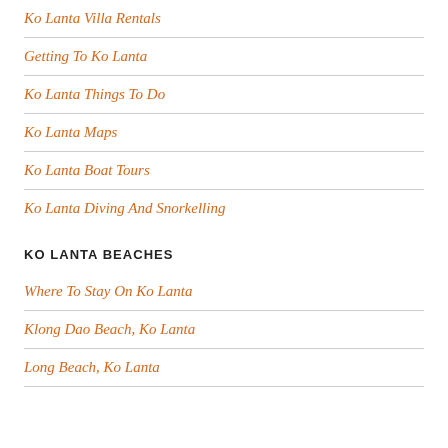Ko Lanta Villa Rentals
Getting To Ko Lanta
Ko Lanta Things To Do
Ko Lanta Maps
Ko Lanta Boat Tours
Ko Lanta Diving And Snorkelling
KO LANTA BEACHES
Where To Stay On Ko Lanta
Klong Dao Beach, Ko Lanta
Long Beach, Ko Lanta